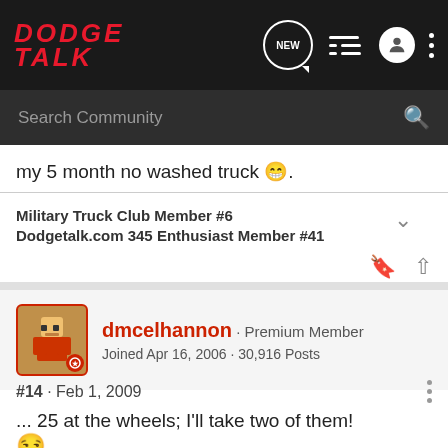[Figure (screenshot): Dodge Talk forum website header with logo, navigation icons, and search bar]
my 5 month no washed truck 😄.
Military Truck Club Member #6
Dodgetalk.com 345 Enthusiast Member #41
dmcelhannon · Premium Member
Joined Apr 16, 2006 · 30,916 Posts
#14 · Feb 1, 2009
... 25 at the wheels; I'll take two of them!